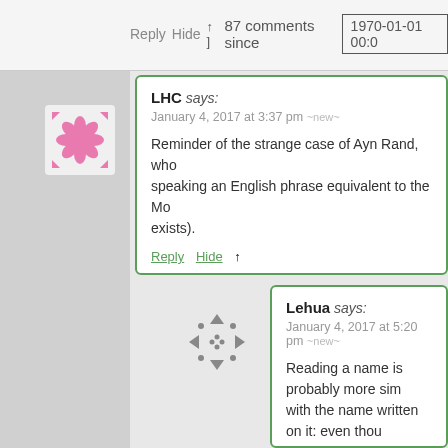Reply Hide ↑  87 comments since  1970-01-01 00:0
LHC says:
January 4, 2017 at 3:37 pm ~new~

Reminder of the strange case of Ayn Rand, who speaking an English phrase equivalent to the Mo exists).
Reply Hide ↑
Lehua says:
January 4, 2017 at 5:20 pm ~new~

Reading a name is probably more sim with the name written on it: even thou the name sounds like it still acts like a person who did the WRITING knew w doing that writing. It even works if you name is a name (eg. non-ensouled ro